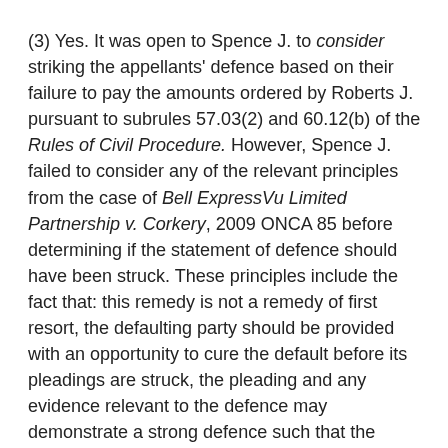(3) Yes. It was open to Spence J. to consider striking the appellants' defence based on their failure to pay the amounts ordered by Roberts J. pursuant to subrules 57.03(2) and 60.12(b) of the Rules of Civil Procedure. However, Spence J. failed to consider any of the relevant principles from the case of Bell ExpressVu Limited Partnership v. Corkery, 2009 ONCA 85 before determining if the statement of defence should have been struck. These principles include the fact that: this remedy is not a remedy of first resort, the defaulting party should be provided with an opportunity to cure the default before its pleadings are struck, the pleading and any evidence relevant to the defence may demonstrate a strong defence such that the interests of justice warrant finding another way to sanction the misconduct. Additional principles that Spence J. failed to consider include the context of the misconduct relied upon, responses proportional to the severity of misconduct, and counsel for the defaulting